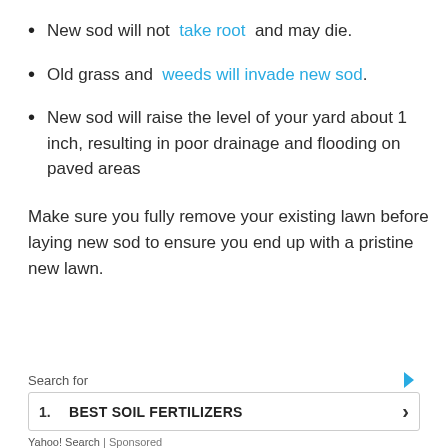New sod will not take root and may die.
Old grass and weeds will invade new sod.
New sod will raise the level of your yard about 1 inch, resulting in poor drainage and flooding on paved areas
Make sure you fully remove your existing lawn before laying new sod to ensure you end up with a pristine new lawn.
Search for
1. BEST SOIL FERTILIZERS
Yahoo! Search | Sponsored